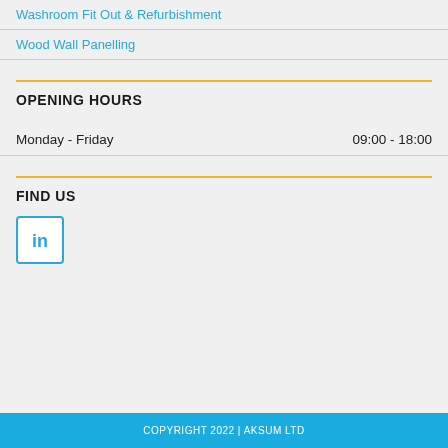Washroom Fit Out & Refurbishment
Wood Wall Panelling
OPENING HOURS
| Day | Hours |
| --- | --- |
| Monday - Friday | 09:00 - 18:00 |
FIND US
[Figure (logo): LinkedIn logo icon in a blue bordered square box]
COPYRIGHT 2022 | AKSUM LTD